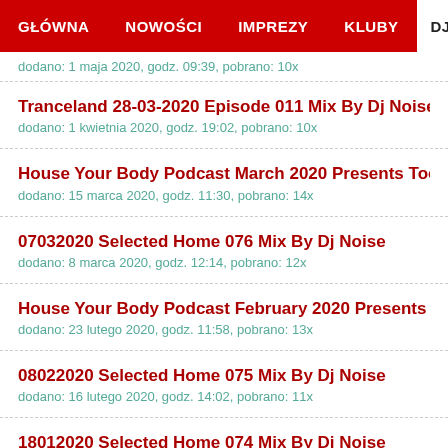GŁÓWNA | NOWOŚCI | IMPREZY | KLUBY | DJE
dodano: 1 maja 2020, godz. 09:39, pobrano: 10x
Tranceland 28-03-2020 Episode 011 Mix By Dj Noise
dodano: 1 kwietnia 2020, godz. 19:02, pobrano: 10x
House Your Body Podcast March 2020 Presents Toom
dodano: 15 marca 2020, godz. 11:30, pobrano: 14x
07032020 Selected Home 076 Mix By Dj Noise
dodano: 8 marca 2020, godz. 12:14, pobrano: 12x
House Your Body Podcast February 2020 Presents Tod
dodano: 23 lutego 2020, godz. 11:58, pobrano: 13x
08022020 Selected Home 075 Mix By Dj Noise
dodano: 16 lutego 2020, godz. 14:02, pobrano: 11x
18012020 Selected Home 074 Mix By Dj Noise